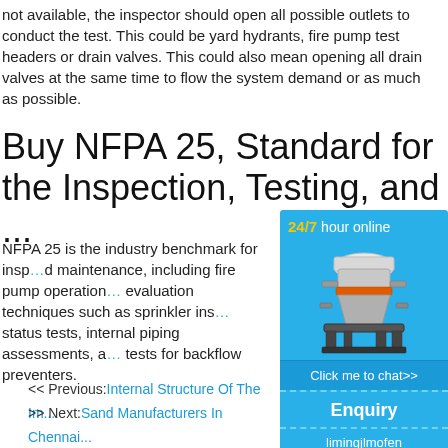not available, the inspector should open all possible outlets to conduct the test. This could be yard hydrants, fire pump test headers or drain valves. This could also mean opening all drain valves at the same time to flow the system demand or as much as possible.
Buy NFPA 25, Standard for the Inspection, Testing, and ...
NFPA 25 is the industry benchmark for inspection, testing and maintenance, including fire pump operations, evaluation techniques such as sprinkler inspection, status tests, internal piping assessments, and tests for backflow preventers.
[Figure (infographic): Advertisement widget with blue background showing a cone crusher machine, '24/7 hour online' text in yellow and white, a 'Click me to chat>>' button, 'Enquiry' section, and 'limingjlmofen' text at bottom.]
<< Previous: Internal Structure Of The Im...
>> Next: Sand Manufacturers In Chennai...